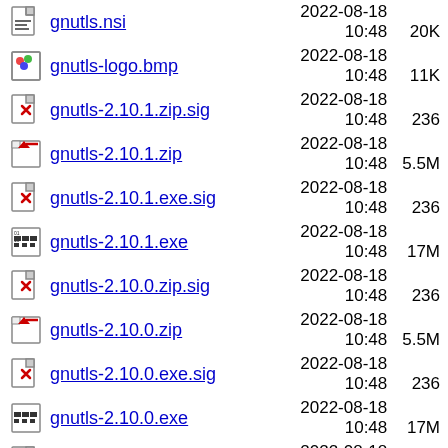gnutls.nsi  2022-08-18 10:48  20K
gnutls-logo.bmp  2022-08-18 10:48  11K
gnutls-2.10.1.zip.sig  2022-08-18 10:48  236
gnutls-2.10.1.zip  2022-08-18 10:48  5.5M
gnutls-2.10.1.exe.sig  2022-08-18 10:48  236
gnutls-2.10.1.exe  2022-08-18 10:48  17M
gnutls-2.10.0.zip.sig  2022-08-18 10:48  236
gnutls-2.10.0.zip  2022-08-18 10:48  5.5M
gnutls-2.10.0.exe.sig  2022-08-18 10:48  236
gnutls-2.10.0.exe  2022-08-18 10:48  17M
gnutls-2.9.12.zip.sig  2022-08-18 10:48  236
gnutls-2.9.12.zip  2022-08-18 10:48  5.5M